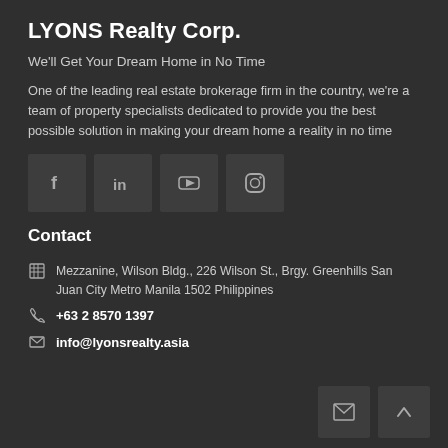LYONS Realty Corp.
We'll Get Your Dream Home in No Time
One of the leading real estate brokerage firm in the country, we're a team of property specialists dedicated to provide you the best possible solution in making your dream home a reality in no time
[Figure (other): Social media icons row: Facebook, LinkedIn, YouTube, Instagram]
Contact
Mezzanine, Wilson Bldg., 226 Wilson St., Brgy. Greenhills San Juan City Metro Manila 1502 Philippines
+63 2 8570 1397
info@lyonsrealty.asia